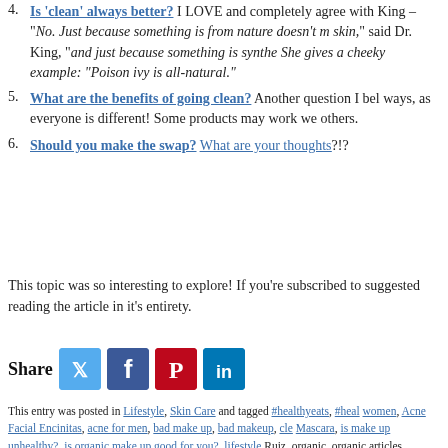4. Is 'clean' always better? I LOVE and completely agree with King – "No. Just because something is from nature doesn't mean it's better for your skin," said Dr. King, "and just because something is synthetic doesn't mean it's bad." She gives a cheeky example: "Poison ivy is all-natural."
5. What are the benefits of going clean? Another question I believe can be answered in different ways, as everyone is different! Some products may work well for some but not others.
6. Should you make the swap? What are your thoughts?!?
This topic was so interesting to explore! If you're subscribed to the magazine, I suggested reading the article in it's entirety.
[Figure (infographic): Share buttons with Twitter, Facebook, Pinterest, and LinkedIn social media icons]
This entry was posted in Lifestyle, Skin Care and tagged #healthyeats, #heal women, Acne Facial Encinitas, acne for men, bad make up, bad makeup, cle Mascara, is make up unhealthy?, is organic make up good for you?, lifestyle Ruiz, organic, organic articles, organic beauty products, organic make up